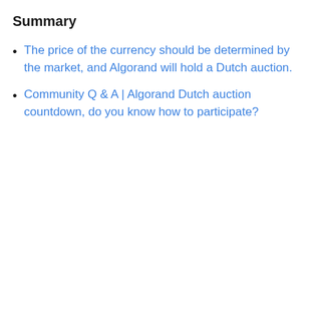Summary
The price of the currency should be determined by the market, and Algorand will hold a Dutch auction.
Community Q & A | Algorand Dutch auction countdown, do you know how to participate?